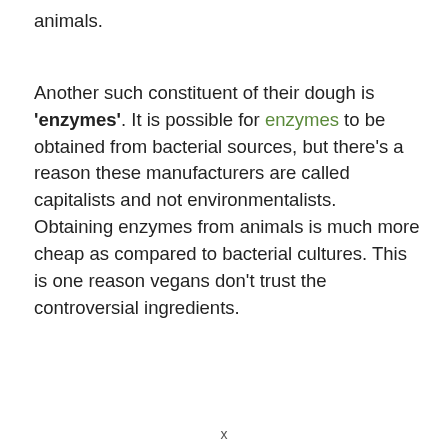animals.
Another such constituent of their dough is 'enzymes'. It is possible for enzymes to be obtained from bacterial sources, but there's a reason these manufacturers are called capitalists and not environmentalists. Obtaining enzymes from animals is much more cheap as compared to bacterial cultures. This is one reason vegans don't trust the controversial ingredients.
x